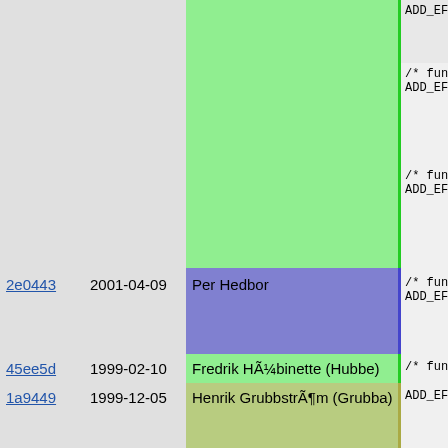| hash | date | author | code |
| --- | --- | --- | --- |
|  |  |  | ADD_EFUN
/* functio
ADD_EFUN
/* functio
ADD_EFUN |
| 2e0443 | 2001-04-09 | Per Hedbor | /* functio
ADD_EFUN |
| 45ee5d | 1999-02-10 | Fredrik HÃ¼binette (Hubbe) | /* functio |
| 1a9449 | 1999-12-05 | Henrik GrubbstrÃ¶m (Grubba) | ADD_EFUN |
| 45ee5d | 1999-02-10 | Fredrik HÃ¼binette (Hubbe) | /* functio
ADD_EFUN |
| 348cff | 2000-12-11 | Per Hedbor |  |
| 5d98c4 | 2003-03-02 | Henrik GrubbstrÃ¶m (Grubba) | ADD_EFUN

ADD_EFUN |
| 348cff | 2000-12-11 | Per Hedbor |  |
| 5d996 | 2003-11-10 | Martin Stiernholm | ADD_EFUN |